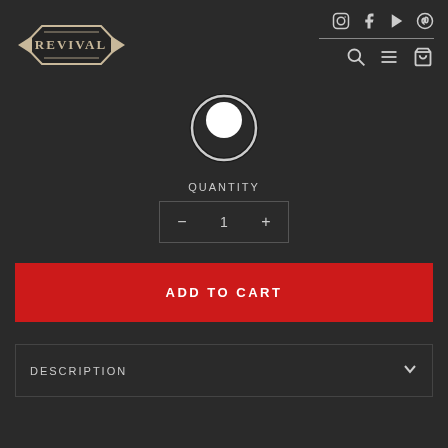[Figure (logo): Revival brand logo — diamond shape with arrows on left and right, text REVIVAL inside]
[Figure (infographic): Social media icons: Instagram, Facebook, YouTube, Pinterest. Below a divider line: search icon, hamburger menu icon, cart icon.]
[Figure (other): Circular button/selector icon — dark ring with white filled inner circle]
QUANTITY
[Figure (other): Quantity selector control with minus button, value 1, plus button]
ADD TO CART
DESCRIPTION